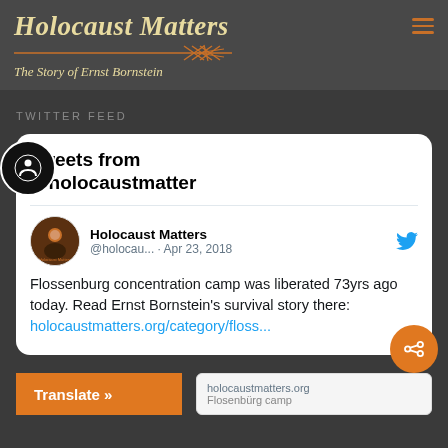Holocaust Matters – The Story of Ernst Bornstein
TWITTER FEED
Tweets from @holocaustmatter
Holocaust Matters @holocau... · Apr 23, 2018
Flossenburg concentration camp was liberated 73yrs ago today. Read Ernst Bornstein's survival story there: holocaustmatters.org/category/floss...
holocaustmatters.org
Flossenbürg camp
Translate »